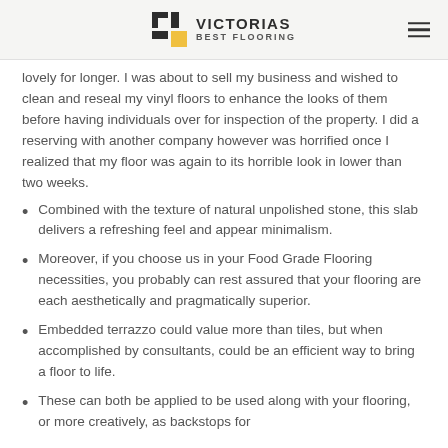VICTORIAS BEST FLOORING
lovely for longer. I was about to sell my business and wished to clean and reseal my vinyl floors to enhance the looks of them before having individuals over for inspection of the property. I did a reserving with another company however was horrified once I realized that my floor was again to its horrible look in lower than two weeks.
Combined with the texture of natural unpolished stone, this slab delivers a refreshing feel and appear minimalism.
Moreover, if you choose us in your Food Grade Flooring necessities, you probably can rest assured that your flooring are each aesthetically and pragmatically superior.
Embedded terrazzo could value more than tiles, but when accomplished by consultants, could be an efficient way to bring a floor to life.
These can both be applied to be used along with your flooring, or more creatively, as backstops for